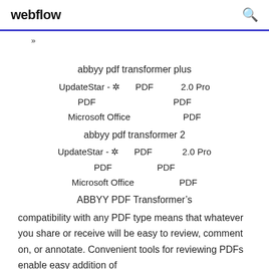webflow
»
abbyy pdf transformer plus
UpdateStar - ✲       PDF              2.0 Pro
PDF                                        PDF
Microsoft Office                           PDF
abbyy pdf transformer 2
UpdateStar - ✲       PDF              2.0 Pro
PDF                    PDF
Microsoft Office                      PDF
ABBYY PDF Transformer's compatibility with any PDF type means that whatever you share or receive will be easy to review, comment on, or annotate. Convenient tools for reviewing PDFs enable easy addition of